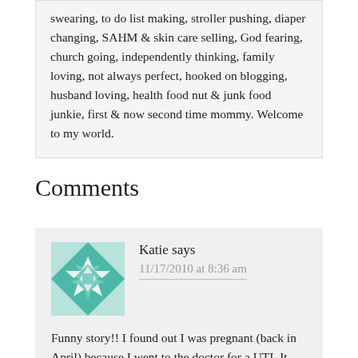swearing, to do list making, stroller pushing, diaper changing, SAHM & skin care selling, God fearing, church going, independently thinking, family loving, not always perfect, hooked on blogging, husband loving, health food nut & junk food junkie, first & now second time mommy. Welcome to my world.
Comments
Katie says
11/17/2010 at 8:36 am
Funny story!! I found out I was pregnant (back in April) because I went to the doctor for a UTI. It was actually my second time back because I thought the UTI was back...